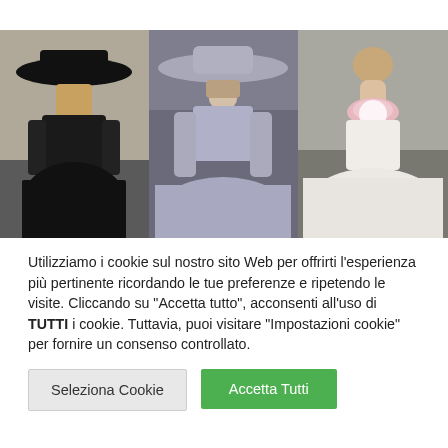[Figure (photo): Three fashion runway photos side by side: left shows a model in black dress with wide-brimmed black hat, center shows a model in silver/grey sparkly gown with wide-brimmed hat, right shows a model in white/cream ball gown with pink floral neckline detail.]
Utilizziamo i cookie sul nostro sito Web per offrirti l'esperienza più pertinente ricordando le tue preferenze e ripetendo le visite. Cliccando su "Accetta tutto", acconsenti all'uso di TUTTI i cookie. Tuttavia, puoi visitare "Impostazioni cookie" per fornire un consenso controllato.
Seleziona Cookie
Accetta Tutti